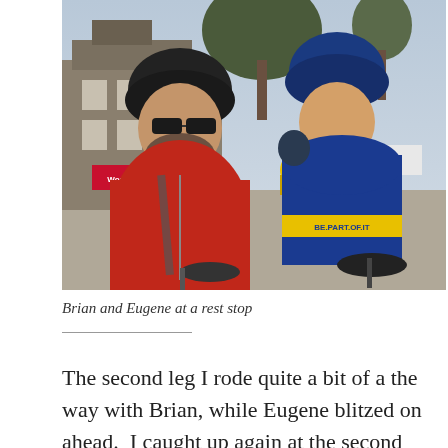[Figure (photo): Two cyclists at a rest stop. The person in the foreground wears a red jacket and black helmet with sunglasses. Behind him is another cyclist in a blue jersey reading 'BE PART OF IT' with a blue helmet and sunglasses. Other cyclists and banners including 'Women's Health' are visible in the background, along with stone buildings and bare trees.]
Brian and Eugene at a rest stop
The second leg I rode quite a bit of a the way with Brian, while Eugene blitzed on ahead.  I caught up again at the second feed station